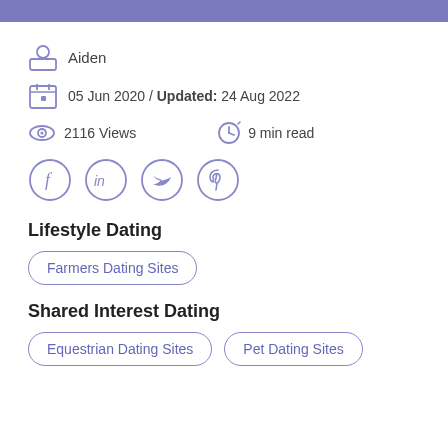Aiden
05 Jun 2020 / Updated: 24 Aug 2022
2116 Views   9 min read
[Figure (other): Social share icons: Facebook, LinkedIn, Twitter, Pinterest]
Lifestyle Dating
Farmers Dating Sites
Shared Interest Dating
Equestrian Dating Sites
Pet Dating Sites